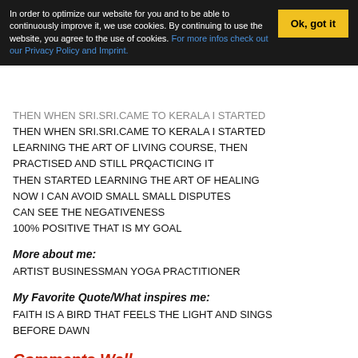In order to optimize our website for you and to be able to continuously improve it, we use cookies. By continuing to use the website, you agree to the use of cookies. For more infos check out our Privacy Policy and Imprint.
THEN WHEN SRI.SRI.CAME TO KERALA I STARTED LEARNING THE ART OF LIVING COURSE, THEN PRACTISED AND STILL PRQACTING IT THEN STARTED LEARNING THE ART OF HEALING NOW I CAN AVOID SMALL SMALL DISPUTES CAN SEE THE NEGATIVENESS 100% POSITIVE THAT IS MY GOAL
More about me:
ARTIST BUSINESSMAN YOGA PRACTITIONER
My Favorite Quote/What inspires me:
FAITH IS A BIRD THAT FEELS THE LIGHT AND SINGS BEFORE DAWN
Comments Wall